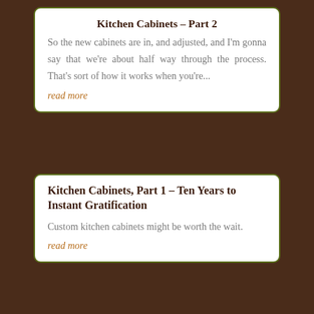Kitchen Cabinets – Part 2
So the new cabinets are in, and adjusted, and I'm gonna say that we're about half way through the process. That's sort of how it works when you're...
read more
Kitchen Cabinets, Part 1 – Ten Years to Instant Gratification
Custom kitchen cabinets might be worth the wait.
read more